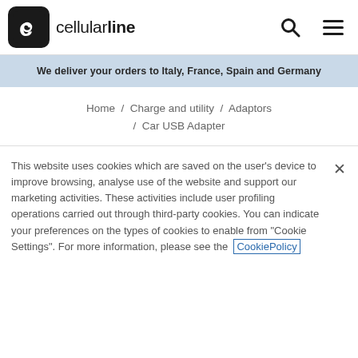cellularline
We deliver your orders to Italy, France, Spain and Germany
Home / Charge and utility / Adaptors / Car USB Adapter
This website uses cookies which are saved on the user's device to improve browsing, analyse use of the website and support our marketing activities. These activities include user profiling operations carried out through third-party cookies. You can indicate your preferences on the types of cookies to enable from "Cookie Settings". For more information, please see the CookiePolicy